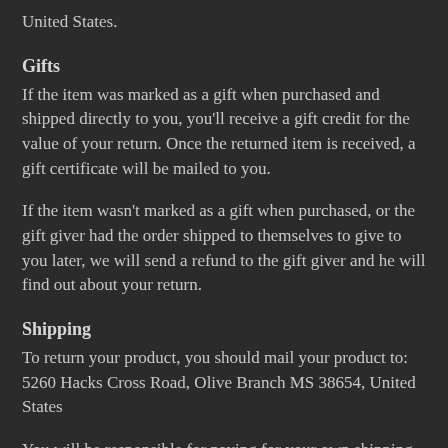United States.
Gifts
If the item was marked as a gift when purchased and shipped directly to you, you'll receive a gift credit for the value of your return. Once the returned item is received, a gift certificate will be mailed to you.
If the item wasn't marked as a gift when purchased, or the gift giver had the order shipped to themselves to give to you later, we will send a refund to the gift giver and he will find out about your return.
Shipping
To return your product, you should mail your product to: 5260 Hacks Cross Road, Olive Branch MS 38654, United States
You will be responsible for paying for your own shipping costs for returning your item. Shipping costs are non-refundable. If you receive a refund, the cost of return...